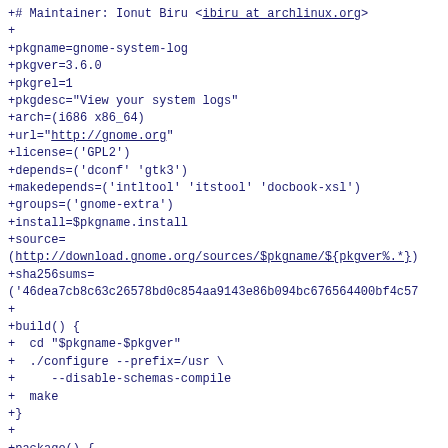+# Maintainer: Ionut Biru <ibiru at archlinux.org>
+
+pkgname=gnome-system-log
+pkgver=3.6.0
+pkgrel=1
+pkgdesc="View your system logs"
+arch=(i686 x86_64)
+url="http://gnome.org"
+license=('GPL2')
+depends=('dconf' 'gtk3')
+makedepends=('intltool' 'itstool' 'docbook-xsl')
+groups=('gnome-extra')
+install=$pkgname.install
+source=
(http://download.gnome.org/sources/$pkgname/${pkgver%.*}
+sha256sums=
('46dea7cb8c63c26578bd0c854aa9143e86b094bc676564400bf4c57
+
+build() {
+  cd "$pkgname-$pkgver"
+  ./configure --prefix=/usr \
+     --disable-schemas-compile
+  make
+}
+
+package() {
+  cd "$pkgname-$pkgver"
+  make DESTDIR="$pkgdir" install
+}
+